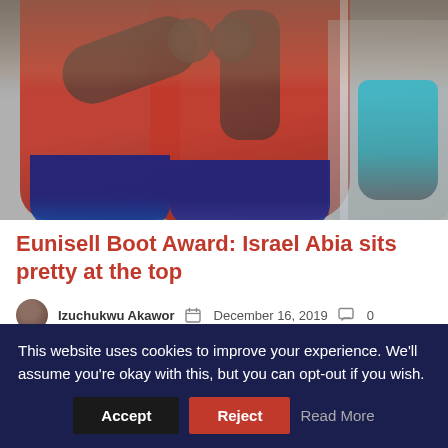[Figure (photo): Two soccer players in red jerseys and blue shorts appear to be celebrating or greeting each other near a goalpost, with a blurred crowd in the background.]
Eunisell Boot Award: Israel Abia sits pretty at the top
Izuchukwu Akawor   December 16, 2019   0
This website uses cookies to improve your experience. We'll assume you're okay with this, but you can opt-out if you wish.
Accept   Reject   Read More